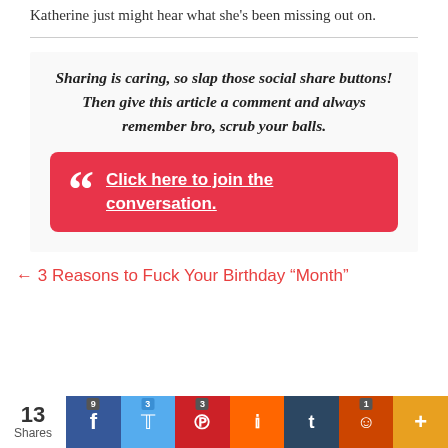Katherine just might hear what she's been missing out on.
Sharing is caring, so slap those social share buttons!  Then give this article a comment and always remember bro, scrub your balls.
Click here to join the conversation.
← 3 Reasons to Fuck Your Birthday “Month”
13 Shares